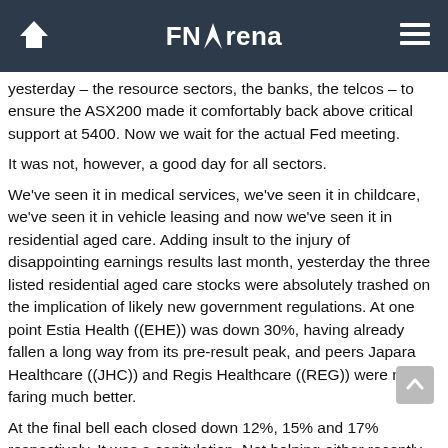FNArena
yesterday – the resource sectors, the banks, the telcos – to ensure the ASX200 made it comfortably back above critical support at 5400. Now we wait for the actual Fed meeting.
It was not, however, a good day for all sectors.
We've seen it in medical services, we've seen it in childcare, we've seen it in vehicle leasing and now we've seen it in residential aged care. Adding insult to the injury of disappointing earnings results last month, yesterday the three listed residential aged care stocks were absolutely trashed on the implication of likely new government regulations. At one point Estia Health ((EHE)) was down 30%, having already fallen a long way from its pre-result peak, and peers Japara Healthcare ((JHC)) and Regis Healthcare ((REG)) were not faring much better.
At the final bell each closed down 12%, 15% and 17% respectively. It was a capitulation. Not helping either recently was news the founder of Estia had sold his entire stake post-result.
In economic news yesterday, Australia's service sector PMI went the same